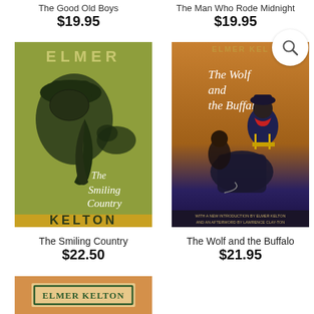The Good Old Boys
$19.95
The Man Who Rode Midnight
$19.95
[Figure (photo): Book cover of The Smiling Country by Elmer Kelton. Olive green background with dark illustration of a cowboy hat and feather. Title in white italic script. ELMER in green text at top, KELTON in gold at bottom.]
[Figure (photo): Book cover of The Wolf and the Buffalo by Elmer Kelton. Shows a Buffalo Soldier on horseback with another figure. Title in italic text on warm golden background. Bottom banner with text: WITH A NEW INTRODUCTION BY ELMER KELTON AND AN AFTERWORD BY LAWRENCE CLAY-TON.]
The Smiling Country
$22.50
The Wolf and the Buffalo
$21.95
[Figure (photo): Partial book cover showing ELMER KELTON name label in a bordered rectangle on an orange/tan background.]